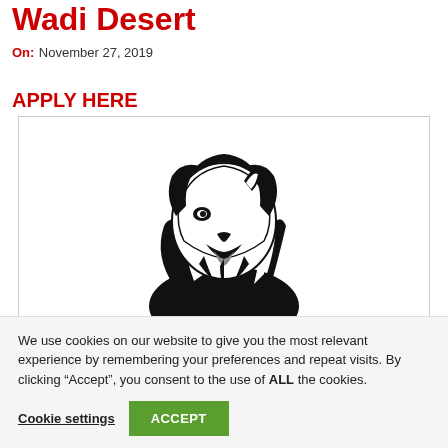Wadi Desert
On: November 27, 2019
APPLY HERE
[Figure (logo): Black and white stylized lion head illustration, facing left with mane flowing, open mouth roaring]
We use cookies on our website to give you the most relevant experience by remembering your preferences and repeat visits. By clicking “Accept”, you consent to the use of ALL the cookies.
Cookie settings | ACCEPT